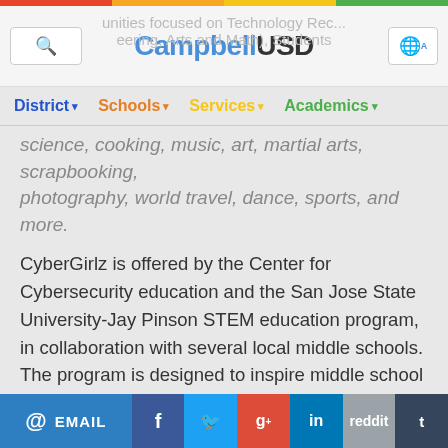Campbell USD
District · Schools · Services · Academics
science, cooking, music, art, martial arts, scrapbooking, photography, world travel, dance, sports, and more.
CyberGirlz is offered by the Center for Cybersecurity education and the San Jose State University-Jay Pinson STEM education program, in collaboration with several local middle schools. The program is designed to inspire middle school aged girls to engage in the fields of Computer Science and Cybersecurity.
The MESA Schools Program assists students in increasing their educational performance, and becoming better prepared